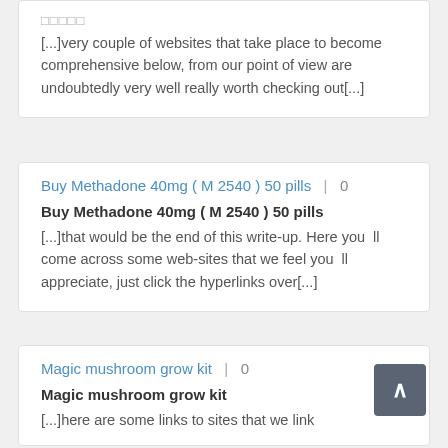□□□□□
[...]very couple of websites that take place to become comprehensive below, from our point of view are undoubtedly very well really worth checking out[...]
Buy Methadone 40mg ( M 2540 ) 50 pills | 0
Buy Methadone 40mg ( M 2540 ) 50 pills
[...]that would be the end of this write-up. Here you  ll come across some web-sites that we feel you  ll appreciate, just click the hyperlinks over[...]
Magic mushroom grow kit | 0
Magic mushroom grow kit
[...]here are some links to sites that we link